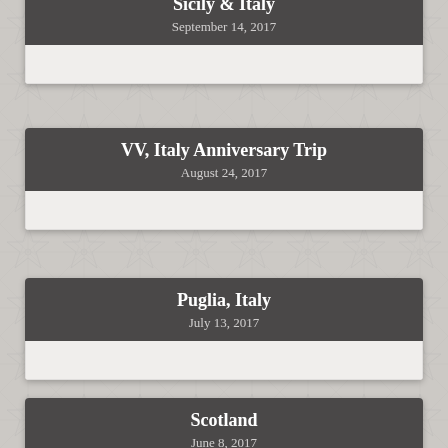Sicily & Italy
September 14, 2017
VV, Italy Anniversary Trip
August 24, 2017
Puglia, Italy
July 13, 2017
Scotland
June 8, 2017